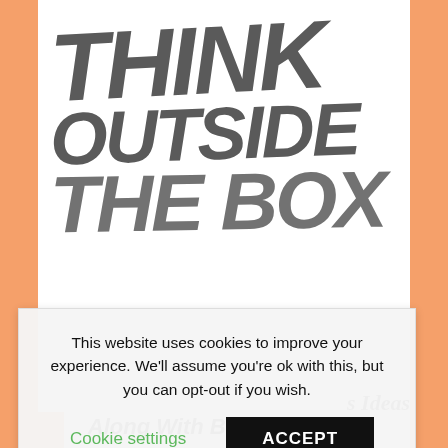[Figure (photo): Book cover or website screenshot showing 'THINK OUTSIDE THE BOX' in large hand-drawn graffiti style letters on a white background with orange side panels. A pink/purple marker brush stroke is visible across the lower portion of the image.]
This website uses cookies to improve your experience. We'll assume you're ok with this, but you can opt-out if you wish.
Cookie settings    ACCEPT
s Ideas
Along With Business Plan